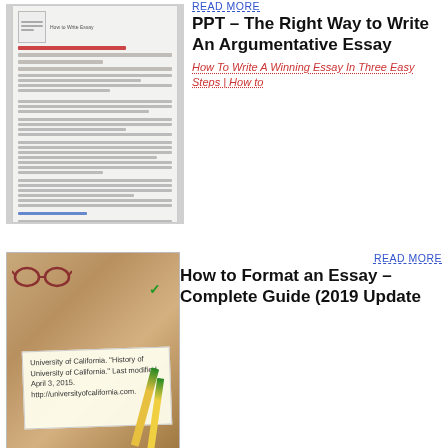READ MORE
[Figure (screenshot): Thumbnail of a document page about types of writing for students]
PPT – The Right Way to Write An Argumentative Essay
How To Write A Winning Essay In Three Easy Steps | How to
READ MORE
[Figure (photo): Photo of glasses, pencils, and a handwritten note with University of California citation on a wooden table]
How to Format an Essay – Complete Guide (2019 Update
The best way to organize thoughts is to create a Mind-Map. Here's how Mind-Maps often look: For your essay plan Mind-Map, write the essay question in the middle of the page and draw a circle around it. Then, select the biggest and most important key ideas that you think are